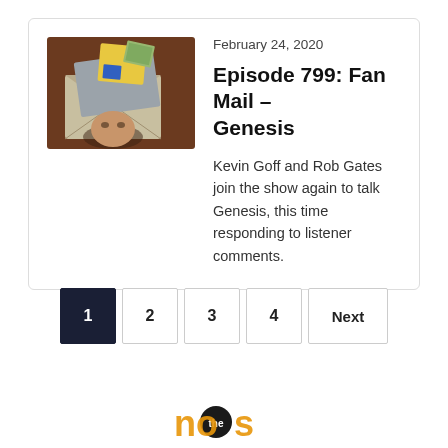[Figure (illustration): Cartoon envelope with letters/photos sticking out, on a brown background]
February 24, 2020
Episode 799: Fan Mail – Genesis
Kevin Goff and Rob Gates join the show again to talk Genesis, this time responding to listener comments.
1 2 3 4 Next (pagination)
[Figure (logo): Partial logo visible at bottom of page]